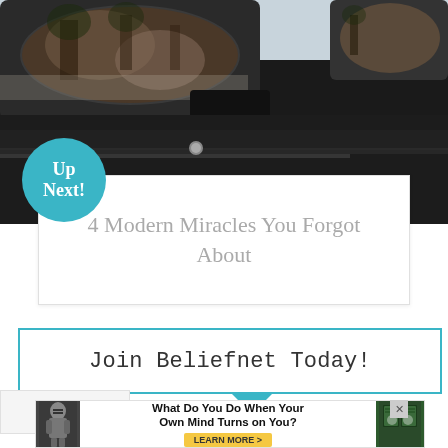[Figure (photo): Close-up photograph of a car side mirror reflecting a scene, dark body of car visible]
Up Next!
4 Modern Miracles You Forgot About
Join Beliefnet Today!
[Figure (infographic): Advertisement banner: What Do You Do When Your Own Mind Turns on You? LEARN MORE >]